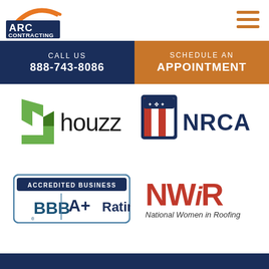[Figure (logo): ARC Contracting logo with orange arc graphic above dark blue text reading ARC CONTRACTING]
[Figure (logo): Hamburger menu icon with three orange horizontal lines]
CALL US 888-743-8086
SCHEDULE AN APPOINTMENT
[Figure (logo): Houzz logo with green geometric arrow/diamond shape and the word houzz in black]
[Figure (logo): NRCA logo with shield icon bearing red white and blue stripes and the letters NRCA]
[Figure (logo): BBB Accredited Business A+ Rating badge in dark blue and white]
[Figure (logo): NWiR National Women in Roofing logo in red with italic text below]